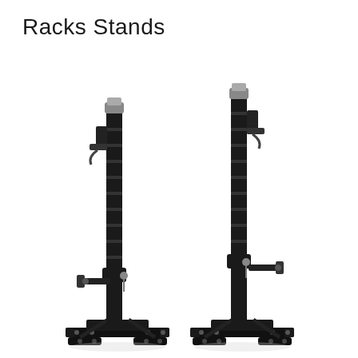Racks Stands
[Figure (photo): Two black adjustable squat rack stands with T-shaped base feet, height-adjustable vertical posts, barbell j-hooks/cup holders at the top, and safety spotter arms in the lower middle section. Both stands are shown side by side on a white background.]